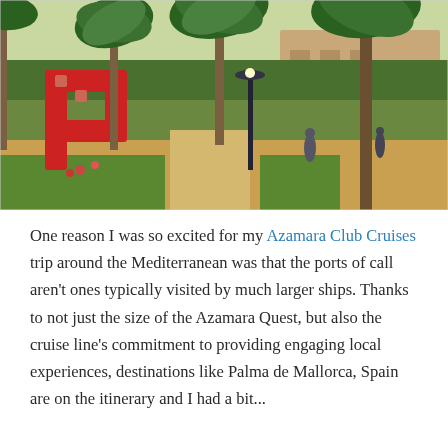[Figure (photo): Outdoor park scene with tall palm trees, a red sculptural letter or artwork on the left, a lamp post in the center, people walking on a path, and a building visible in the background. Green foliage and flowers are visible.]
One reason I was so excited for my Azamara Club Cruises trip around the Mediterranean was that the ports of call aren't ones typically visited by much larger ships. Thanks to not just the size of the Azamara Quest, but also the cruise line's commitment to providing engaging local experiences, destinations like Palma de Mallorca, Spain are on the itinerary and I had a bit...